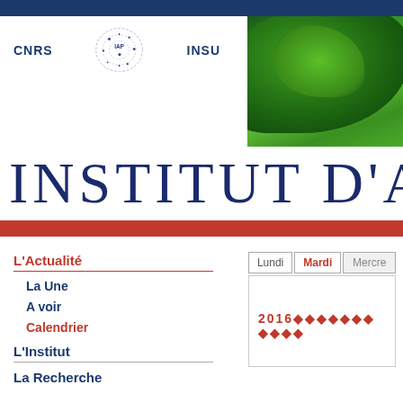[Figure (logo): Dark blue top navigation bar]
[Figure (logo): IAP header with CNRS and INSU logos and IAP emblem on white background, green photo on right]
INSTITUT D'ASTROP
L'Actualité
La Une
A voir
Calendrier
L'Institut
La Recherche
| Lundi | Mardi | Mercre |
| --- | --- | --- |
| 2016◆◆◆◆◆◆◆◆◆◆◆ |